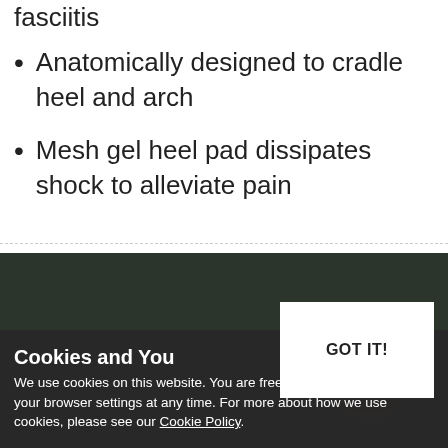Suitable for a heel spurs and plantar fasciitis
Anatomically designed to cradle heel and arch
Mesh gel heel pad dissipates shock to alleviate pain
[Figure (photo): Photo of a shoe insole product with dark background, partially visible]
Cookies and You
We use cookies on this website. You are free to manage these via your browser settings at any time. For more about how we use cookies, please see our Cookie Policy.